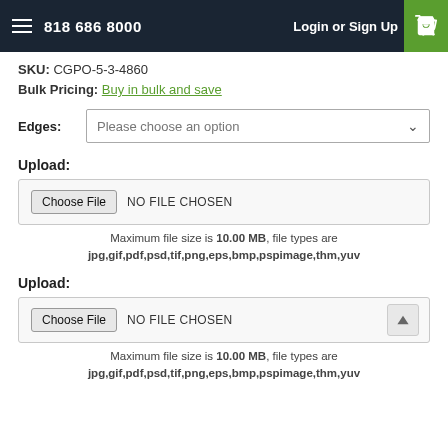818 686 8000  Login or Sign Up
SKU: CGPO-5-3-4860
Bulk Pricing: Buy in bulk and save
Edges: Please choose an option
Upload:
Choose File  NO FILE CHOSEN
Maximum file size is 10.00 MB, file types are jpg,gif,pdf,psd,tif,png,eps,bmp,pspimage,thm,yuv
Upload:
Choose File  NO FILE CHOSEN
Maximum file size is 10.00 MB, file types are jpg,gif,pdf,psd,tif,png,eps,bmp,pspimage,thm,yuv